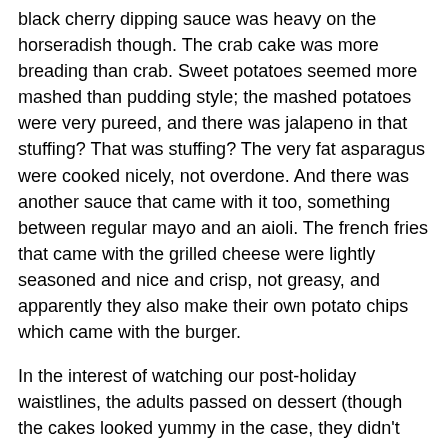black cherry dipping sauce was heavy on the horseradish though. The crab cake was more breading than crab. Sweet potatoes seemed more mashed than pudding style; the mashed potatoes were very pureed, and there was jalapeno in that stuffing? That was stuffing? The very fat asparagus were cooked nicely, not overdone. And there was another sauce that came with it too, something between regular mayo and an aioli. The french fries that came with the grilled cheese were lightly seasoned and nice and crisp, not greasy, and apparently they also make their own potato chips which came with the burger.
In the interest of watching our post-holiday waistlines, the adults passed on dessert (though the cakes looked yummy in the case, they didn't look nearly as tall and imposing as I remember), and we got vanilla ice cream for the boys. Well, what arrived wasn't vanilla, and the boys wouldn't eat it. We both tried it, and it had a familiar herbaceous quality to it. When the waiter came by to get the check, we mentioned it to him, and his response was "well, we only have one kind of ice cream." Well, it turns out they DO have two. He apparently scooped from the wrong container, as it turned out to be